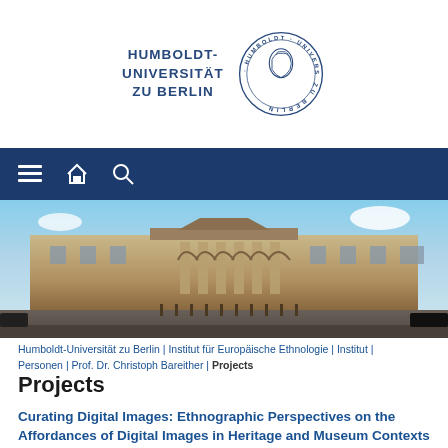[Figure (logo): Humboldt-Universität zu Berlin logo with text and circular seal]
[Figure (photo): Navigation bar with menu, home, and search icons on dark blue background]
[Figure (photo): Panoramic photo of a classical university building with columns and arches]
Humboldt-Universität zu Berlin | Institut für Europäische Ethnologie | Institut | Personen | Prof. Dr. Christoph Bareither | Projects
Projects
Curating Digital Images: Ethnographic Perspectives on the Affordances of Digital Images in Heritage and Museum Contexts